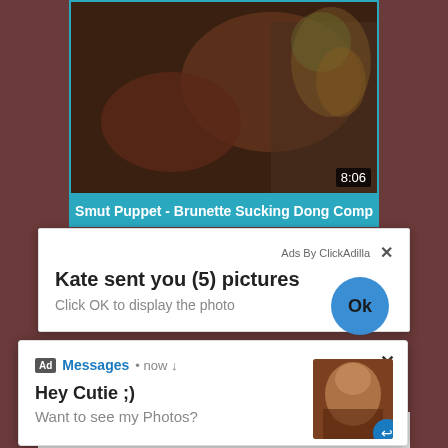[Figure (screenshot): Adult video thumbnail with timestamp 8:06]
Smut Puppet - Brunette Sucking Dong Comp
Ads By ClickAdilla
Kate sent you (5) pictures
Click OK to display the photo
Ad Messages • now
Hey Cutie ;)
Want to see my Photos?
2sd